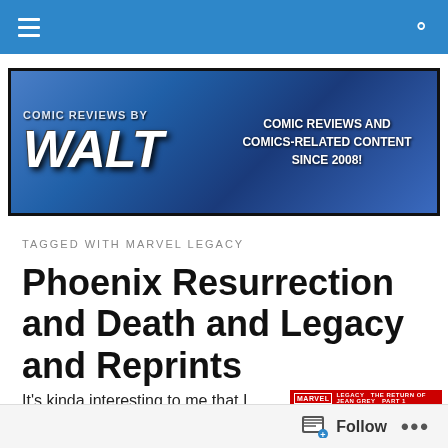Navigation bar with hamburger menu and search icon
[Figure (illustration): Comic Reviews by Walt banner — blue gradient background, 'COMIC REVIEWS BY WALT' title in large bold italic white text, tagline 'COMIC REVIEWS AND COMICS-RELATED CONTENT SINCE 2008!' in white bold uppercase text on the right]
TAGGED WITH MARVEL LEGACY
Phoenix Resurrection and Death and Legacy and Reprints
It's kinda interesting to me that I apparently had the
[Figure (illustration): Marvel Legacy comic book cover — The Return of Jean Grey Part 1, dark red/brown background with wing imagery, Marvel Legacy banner at top]
Follow  •••